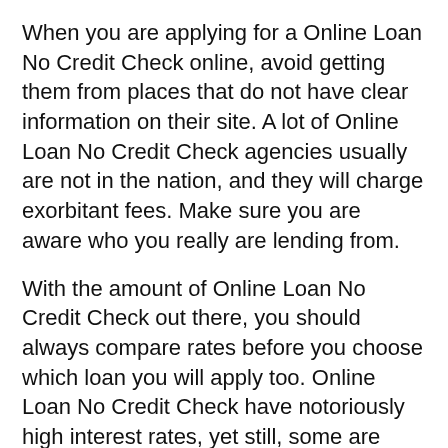When you are applying for a Online Loan No Credit Check online, avoid getting them from places that do not have clear information on their site. A lot of Online Loan No Credit Check agencies usually are not in the nation, and they will charge exorbitant fees. Make sure you are aware who you really are lending from.
With the amount of Online Loan No Credit Check out there, you should always compare rates before you choose which loan you will apply too. Online Loan No Credit Check have notoriously high interest rates, yet still, some are beyond others. Try, and judge a Online Loan No Credit Check that gives the smallest interest levels possible, so that you can save money.
When you are getting your Online Loan No Credit Check from a lender far away, whether online or via phone, attempt to find a lender which will not require you to fax anything. You most likely lack a fax machine, and several companies want